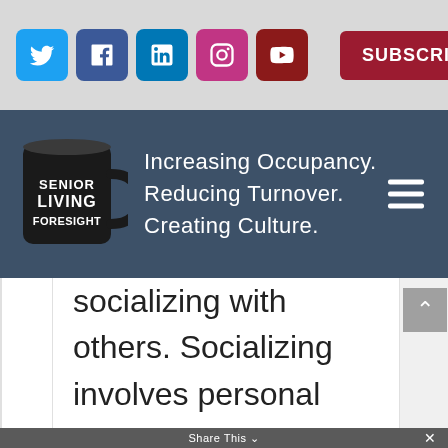[Figure (screenshot): Social media icon buttons: Twitter (blue), Facebook (dark blue), LinkedIn (blue), Instagram (pink), YouTube (dark red), and a Subscribe button (dark red)]
[Figure (logo): Senior Living Foresight website header with mug logo and tagline: Increasing Occupancy. Reducing Turnover. Creating Culture. With hamburger menu icon.]
socializing with others. Socializing involves personal interactions, having
Share This ∨  ×